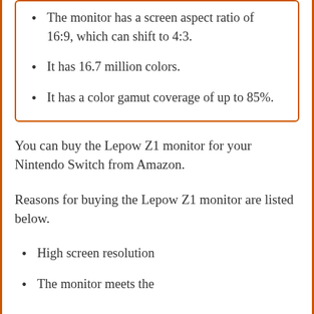The monitor has a screen aspect ratio of 16:9, which can shift to 4:3.
It has 16.7 million colors.
It has a color gamut coverage of up to 85%.
You can buy the Lepow Z1 monitor for your Nintendo Switch from Amazon.
Reasons for buying the Lepow Z1 monitor are listed below.
High screen resolution
The monitor meets the